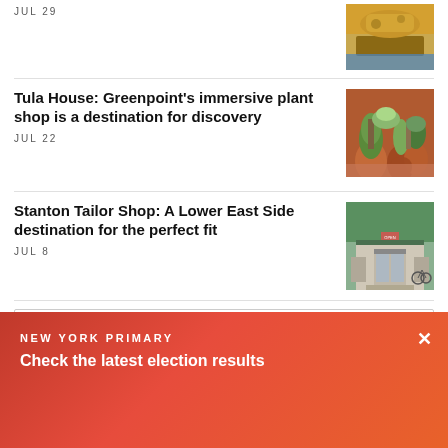JUL 29
[Figure (photo): Food item on a blue and white plate, top portion visible]
Tula House: Greenpoint's immersive plant shop is a destination for discovery
JUL 22
[Figure (photo): Succulents and small plants in terracotta pots at a plant shop]
Stanton Tailor Shop: A Lower East Side destination for the perfect fit
JUL 8
[Figure (photo): Storefront of a tailor shop on the Lower East Side with glass door and bicycles]
More from The Dig ›
NEW YORK PRIMARY
Check the latest election results